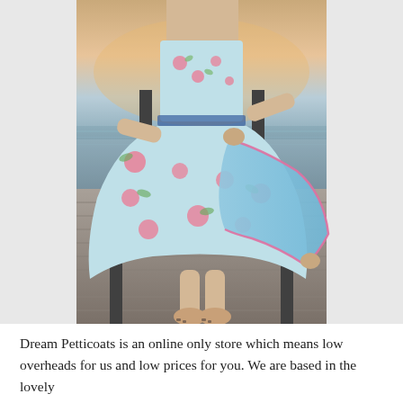[Figure (photo): A woman standing barefoot on a wooden dock/pier over calm water at sunset. She is wearing a light blue floral dress with pink roses and holding out the skirt to reveal a blue petticoat with pink trim underneath. The background shows a serene lake or ocean with a warm sunset sky.]
Dream Petticoats is an online only store which means low overheads for us and low prices for you. We are based in the lovely